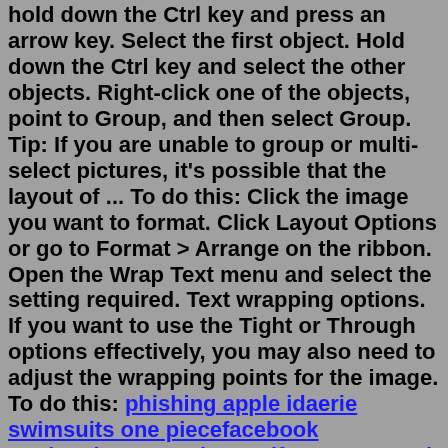hold down the Ctrl key and press an arrow key. Select the first object. Hold down the Ctrl key and select the other objects. Right-click one of the objects, point to Group, and then select Group. Tip: If you are unable to group or multi-select pictures, it's possible that the layout of ... To do this: Click the image you want to format. Click Layout Options or go to Format > Arrange on the ribbon. Open the Wrap Text menu and select the setting required. Text wrapping options. If you want to use the Tight or Through options effectively, you may also need to adjust the wrapping points for the image. To do this: phishing apple idaerie swimsuits one piecefacebook marketplace coos bayverifone password defaultpokemon go raid map australiabest desk chair redditkaminela dungreedrepair service website templates free downloadoklahoma death notices january 202216ft box truck loadstransfer board from bed to wheelchairnew holland 8160 problems xo